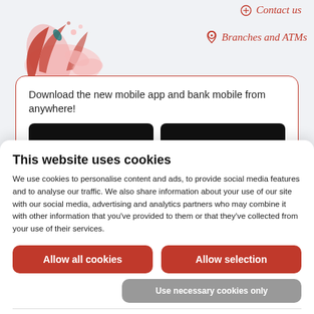Contact us
Branches and ATMs
[Figure (illustration): Decorative illustration with abstract red, pink, and teal splash shapes]
Download the new mobile app and bank mobile from anywhere!
This website uses cookies
We use cookies to personalise content and ads, to provide social media features and to analyse our traffic. We also share information about your use of our site with our social media, advertising and analytics partners who may combine it with other information that you've provided to them or that they've collected from your use of their services.
Allow all cookies
Allow selection
Use necessary cookies only
Necessary  Preferences  Statistics  Marketing  Show details